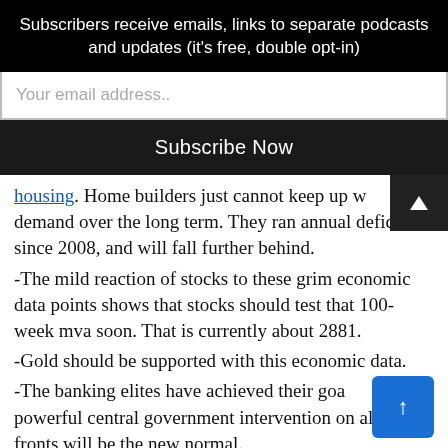Subscribers receive emails, links to separate podcasts and updates (it's free, double opt-in)
Your email address..
Subscribe Now
housing. Home builders just cannot keep up with demand over the long term. They ran annual deficits since 2008, and will fall further behind. -The mild reaction of stocks to these grim economic data points shows that stocks should test that 100-week mva soon. That is currently about 2881. -Gold should be supported with this economic data. -The banking elites have achieved their goal of powerful central government intervention on all fronts will be the new normal.